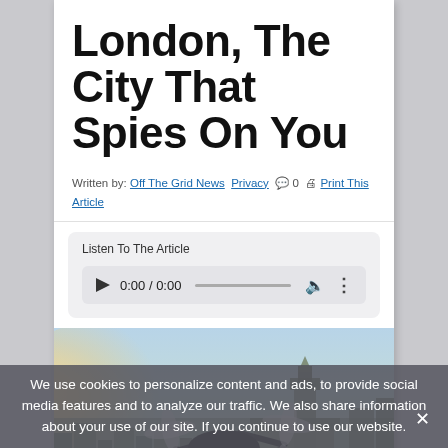London, The City That Spies On You
Written by: Off The Grid News   Privacy   💬 0   🖨 Print This Article
Listen To The Article
0:00 / 0:00
[Figure (photo): A drone with a camera flying over London cityscape with Big Ben and the Houses of Parliament visible in the background]
We use cookies to personalize content and ads, to provide social media features and to analyze our traffic. We also share information about your use of our site. If you continue to use our website.